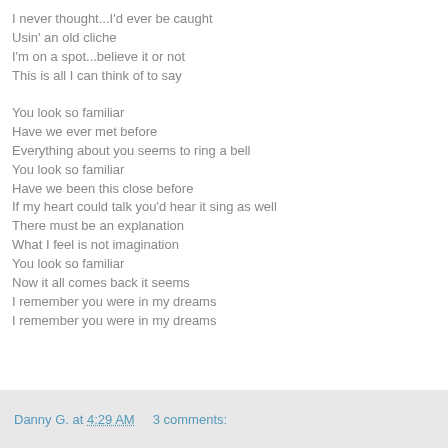I never thought...I'd ever be caught
Usin' an old cliche
I'm on a spot...believe it or not
This is all I can think of to say

You look so familiar
Have we ever met before
Everything about you seems to ring a bell
You look so familiar
Have we been this close before
If my heart could talk you'd hear it sing as well
There must be an explanation
What I feel is not imagination
You look so familiar
Now it all comes back it seems
I remember you were in my dreams
I remember you were in my dreams
Danny G. at 4:29 AM    3 comments: